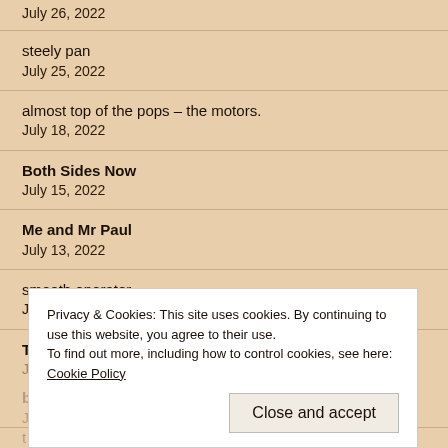July 26, 2022
steely pan
July 25, 2022
almost top of the pops – the motors.
July 18, 2022
Both Sides Now
July 15, 2022
Me and Mr Paul
July 13, 2022
smooth operator
July 11, 2022
The Band Who Wouldn't Die
July...
Privacy & Cookies: This site uses cookies. By continuing to use this website, you agree to their use.
To find out more, including how to control cookies, see here: Cookie Policy
Close and accept